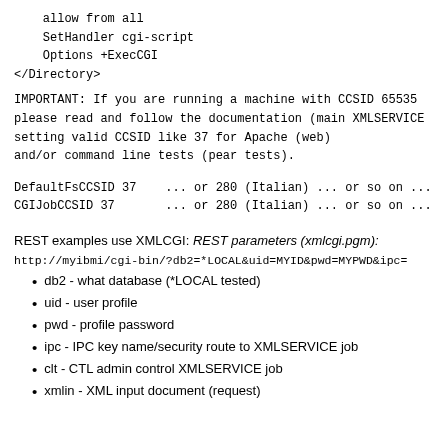allow from all
    SetHandler cgi-script
    Options +ExecCGI
</Directory>
IMPORTANT: If you are running a machine with CCSID 65535 please read and follow the documentation (main XMLSERVICE setting valid CCSID like 37 for Apache (web) and/or command line tests (pear tests).
DefaultFsCCSID 37    ... or 280 (Italian) ... or so on ...
CGIJobCCSID 37       ... or 280 (Italian) ... or so on ...
REST examples use XMLCGI: REST parameters (xmlcgi.pgm):
http://myibmi/cgi-bin/?db2=*LOCAL&uid=MYID&pwd=MYPWD&ipc=
db2 - what database (*LOCAL tested)
uid - user profile
pwd - profile password
ipc - IPC key name/security route to XMLSERVICE job
clt - CTL admin control XMLSERVICE job
xmlin - XML input document (request)